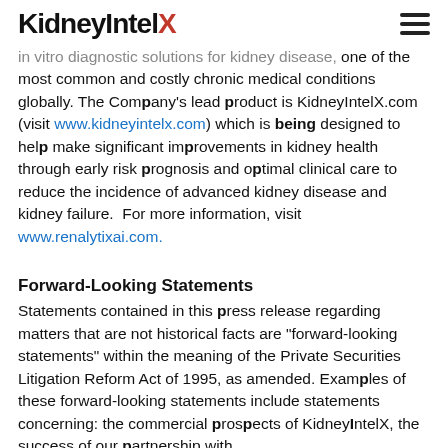KidneyIntelX
in vitro diagnostic solutions for kidney disease, one of the most common and costly chronic medical conditions globally. The Company's lead product is KidneyIntelX.com (visit www.kidneyintelx.com) which is being designed to help make significant improvements in kidney health through early risk prognosis and optimal clinical care to reduce the incidence of advanced kidney disease and kidney failure. For more information, visit www.renalytixai.com.
Forward-Looking Statements
Statements contained in this press release regarding matters that are not historical facts are "forward-looking statements" within the meaning of the Private Securities Litigation Reform Act of 1995, as amended. Examples of these forward-looking statements include statements concerning: the commercial prospects of KidneyIntelX, the success of our partnership with